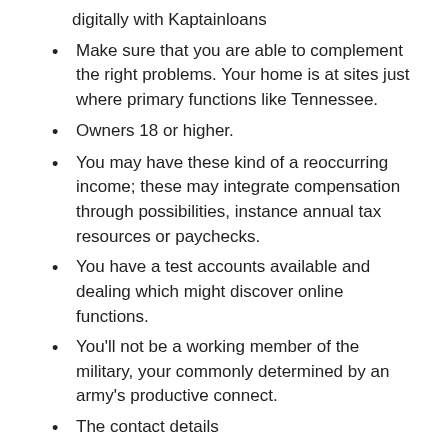digitally with Kaptainloans
Make sure that you are able to complement the right problems. Your home is at sites just where primary functions like Tennessee.
Owners 18 or higher.
You may have these kind of a reoccurring income; these may integrate compensation through possibilities, instance annual tax resources or paychecks.
You have a test accounts available and dealing which might discover online functions.
You'll not be a working member of the military, your commonly determined by an army's productive connect.
The contact details
Appropriate mail membership
Your own contact information, similar to your login
Exactly why Kaptain Finance top?